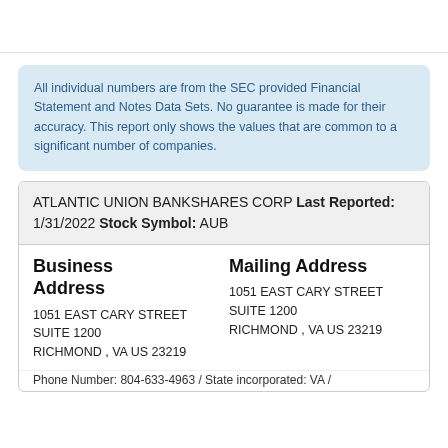All individual numbers are from the SEC provided Financial Statement and Notes Data Sets. No guarantee is made for their accuracy. This report only shows the values that are common to a significant number of companies.
ATLANTIC UNION BANKSHARES CORP Last Reported: 1/31/2022 Stock Symbol: AUB
Business Address
1051 EAST CARY STREET
SUITE 1200
RICHMOND , VA US 23219
Mailing Address
1051 EAST CARY STREET
SUITE 1200
RICHMOND , VA US 23219
Phone Number: 804-633-4963 / State incorporated: VA / ...